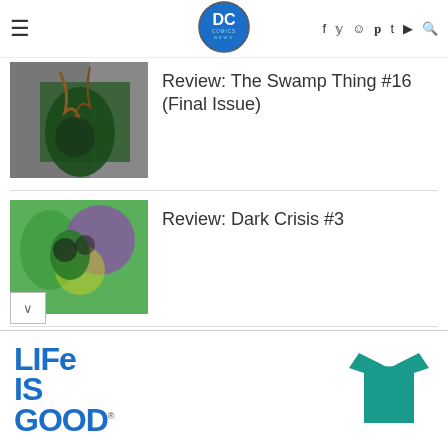DC Comics News — header with navigation icons
Review: The Swamp Thing #16 (Final Issue)
Review: Dark Crisis #3
Review: Fables #154
[Figure (infographic): Life is Good advertisement with teal t-shirt image]